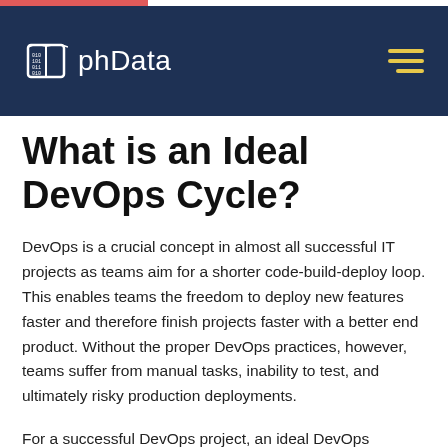phData
What is an Ideal DevOps Cycle?
DevOps is a crucial concept in almost all successful IT projects as teams aim for a shorter code-build-deploy loop. This enables teams the freedom to deploy new features faster and therefore finish projects faster with a better end product. Without the proper DevOps practices, however, teams suffer from manual tasks, inability to test, and ultimately risky production deployments.
For a successful DevOps project, an ideal DevOps